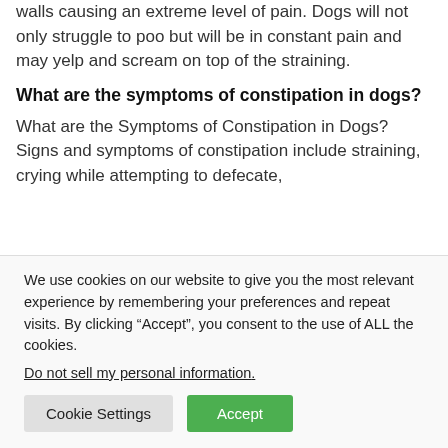sharp such as a piece of glass as it can tear at the walls causing an extreme level of pain. Dogs will not only struggle to poo but will be in constant pain and may yelp and scream on top of the straining.
What are the symptoms of constipation in dogs?
What are the Symptoms of Constipation in Dogs? Signs and symptoms of constipation include straining, crying while attempting to defecate,
We use cookies on our website to give you the most relevant experience by remembering your preferences and repeat visits. By clicking “Accept”, you consent to the use of ALL the cookies.
Do not sell my personal information.